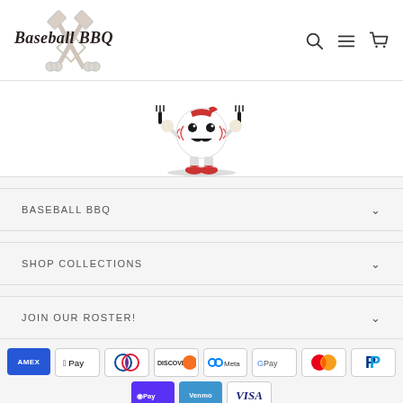[Figure (logo): Baseball BBQ logo with crossed spatulas and baseball bat, cursive text 'Baseball BBQ']
[Figure (illustration): Baseball mascot character with mustache, holding forks, wearing red sneakers]
BASEBALL BBQ
SHOP COLLECTIONS
JOIN OUR ROSTER!
[Figure (other): Payment method icons: American Express, Apple Pay, Diners Club, Discover, Meta Pay, Google Pay, Mastercard, PayPal, Shop Pay, Venmo, Visa]